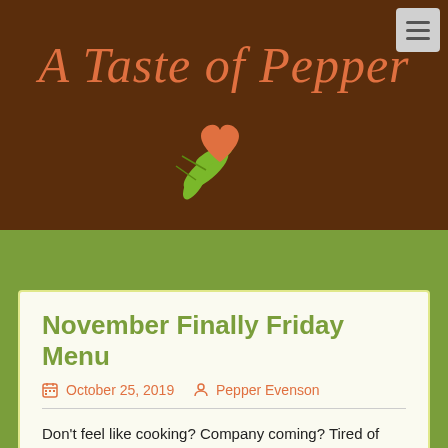A Taste of Pepper
[Figure (logo): A Taste of Pepper logo with a green leaf and orange heart shape]
November Finally Friday Menu
October 25, 2019   Pepper Evenson
Don't feel like cooking? Company coming? Tired of frozen dinners? Well, no worries! It's finally Friday and I'll be preparing your dinner tonight! Fresh ingredients, my